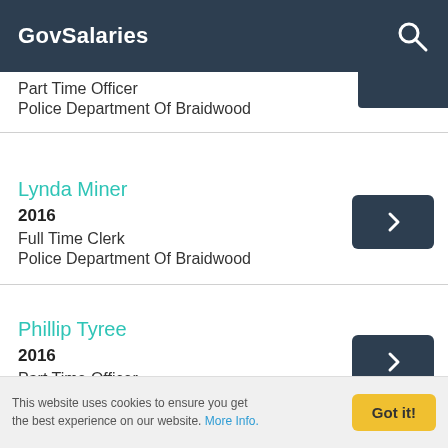GovSalaries
Part Time Officer
Police Department Of Braidwood
Lynda Miner
2016
Full Time Clerk
Police Department Of Braidwood
Phillip Tyree
2016
Part Time Officer
Police Department Of Braidwood
This website uses cookies to ensure you get the best experience on our website. More Info.